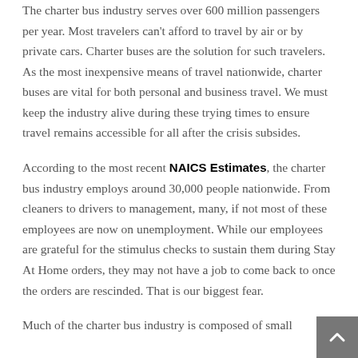The charter bus industry serves over 600 million passengers per year. Most travelers can't afford to travel by air or by private cars. Charter buses are the solution for such travelers. As the most inexpensive means of travel nationwide, charter buses are vital for both personal and business travel. We must keep the industry alive during these trying times to ensure travel remains accessible for all after the crisis subsides.
According to the most recent NAICS Estimates, the charter bus industry employs around 30,000 people nationwide. From cleaners to drivers to management, many, if not most of these employees are now on unemployment. While our employees are grateful for the stimulus checks to sustain them during Stay At Home orders, they may not have a job to come back to once the orders are rescinded. That is our biggest fear.
Much of the charter bus industry is composed of small